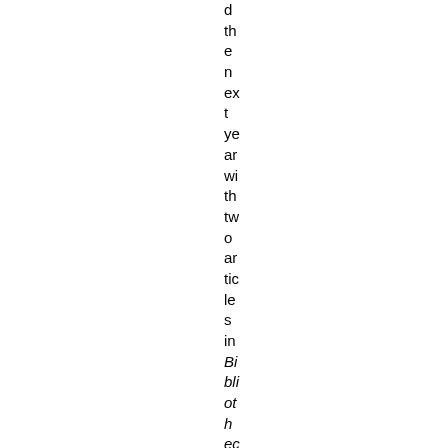d
th
e
n
ex
t
ye
ar
wi
th
tw
o
ar
tic
le
s
in
Bibliotheca Sacra,
but th